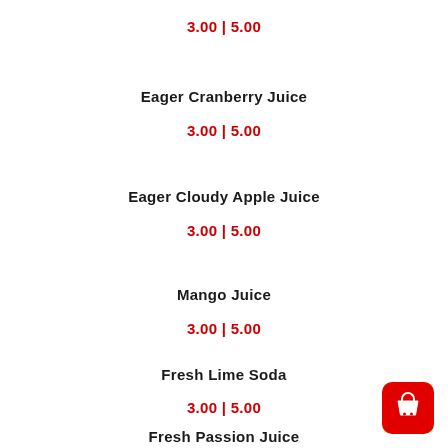3.00 | 5.00
Eager Cranberry Juice
3.00 | 5.00
Eager Cloudy Apple Juice
3.00 | 5.00
Mango Juice
3.00 | 5.00
Fresh Lime Soda
3.00 | 5.00
Fresh Passion Juice
3.50 | 5.50